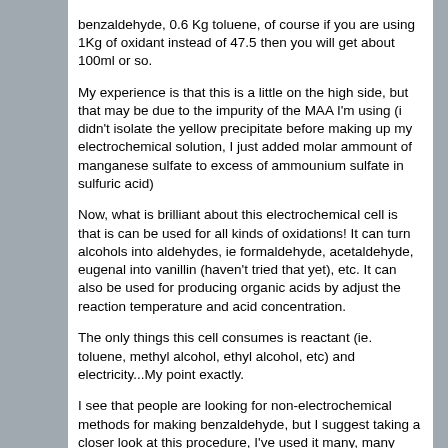benzaldehyde, 0.6 Kg toluene, of course if you are using 1Kg of oxidant instead of 47.5 then you will get about 100ml or so.
My experience is that this is a little on the high side, but that may be due to the impurity of the MAA I'm using (i didn't isolate the yellow precipitate before making up my electrochemical solution, I just added molar ammount of manganese sulfate to excess of ammounium sulfate in sulfuric acid)
Now, what is brilliant about this electrochemical cell is that is can be used for all kinds of oxidations! It can turn alcohols into aldehydes, ie formaldehyde, acetaldehyde, eugenal into vanillin (haven't tried that yet), etc. It can also be used for producing organic acids by adjust the reaction temperature and acid concentration.
The only things this cell consumes is reactant (ie. toluene, methyl alcohol, ethyl alcohol, etc) and electricity...My point exactly.
I see that people are looking for non-electrochemical methods for making benzaldehyde, but I suggest taking a closer look at this procedure, I've used it many, many times and it is quite versatile. It is the real mckoy.
I made my manganese sulfate from dismantled D size alkaline batteries, by reacting the MnO2 (100g per battery) with HCl to make the chloride (vent chlorine outside!), and then reacting the chloride with sulfuric acid to make the sulfate.
BTW, I then used most of that sulfate to make the carbonate (by reacting it with sodium bicarbonate) and then with acetic acid to form the acetate, but that is for another experiment that I won't go into detail.